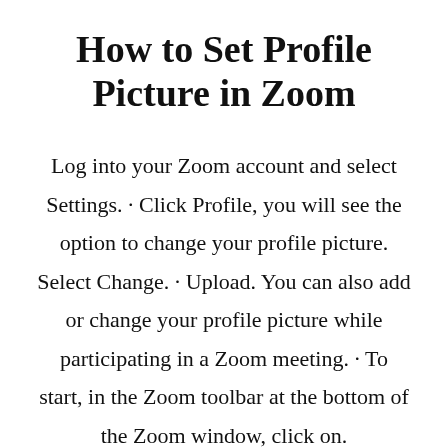How to Set Profile Picture in Zoom
Log into your Zoom account and select Settings. · Click Profile, you will see the option to change your profile picture. Select Change. · Upload. You can also add or change your profile picture while participating in a Zoom meeting. · To start, in the Zoom toolbar at the bottom of the Zoom window, click on.